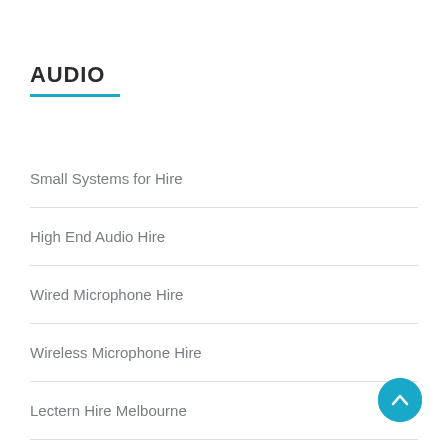AUDIO
Small Systems for Hire
High End Audio Hire
Wired Microphone Hire
Wireless Microphone Hire
Lectern Hire Melbourne
DJ Equipment Hire – Full Range
[Figure (other): Circular teal back-to-top button with upward chevron arrow]